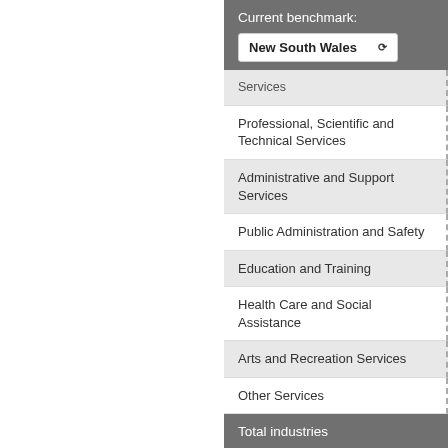Current benchmark:
New South Wales ▾
Services
Professional, Scientific and Technical Services
Administrative and Support Services
Public Administration and Safety
Education and Training
Health Care and Social Assistance
Arts and Recreation Services
Other Services
Total industries
Source: National Institute of Economic... decisions). NIEIR-ID data are adjusted... Learn more
Please refer to specific data notes for n